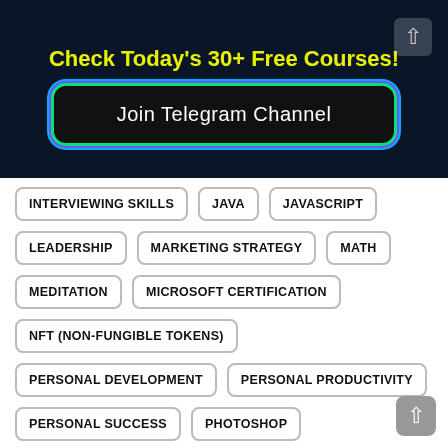Check Today's 30+ Free Courses!
Join Telegram Channel
INTERVIEWING SKILLS
JAVA
JAVASCRIPT
LEADERSHIP
MARKETING STRATEGY
MATH
MEDITATION
MICROSOFT CERTIFICATION
NFT (NON-FUNGIBLE TOKENS)
PERSONAL DEVELOPMENT
PERSONAL PRODUCTIVITY
PERSONAL SUCCESS
PHOTOSHOP
PROGRAMMING FUNDAMENTALS
PROJECT MANAGEMENT
PUBLIC SPEAKING
PYTHON
SALES SKILLS
SOCIAL MEDIA MARKETING
SQL
STOCK TRADING